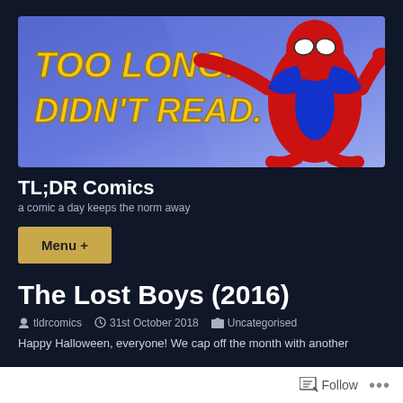[Figure (illustration): TL;DR Comics website banner. Blue/purple gradient background. Bold yellow italic text reads 'TOO LONG. DIDN'T READ.' on the left. Spider-Man character in red and blue costume with arms outstretched on the right.]
TL;DR Comics
a comic a day keeps the norm away
Menu +
The Lost Boys (2016)
tldrcomics   31st October 2018   Uncategorised
Happy Halloween, everyone! We cap off the month with another
Follow ...